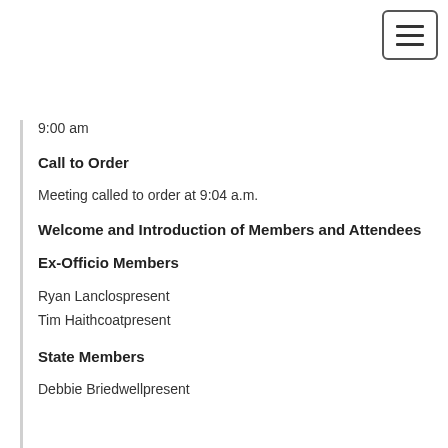9:00 am
Call to Order
Meeting called to order at 9:04 a.m.
Welcome and Introduction of Members and Attendees
Ex-Officio Members
Ryan Lanclospresent
Tim Haithcoatpresent
State Members
Debbie Briedwellpresent